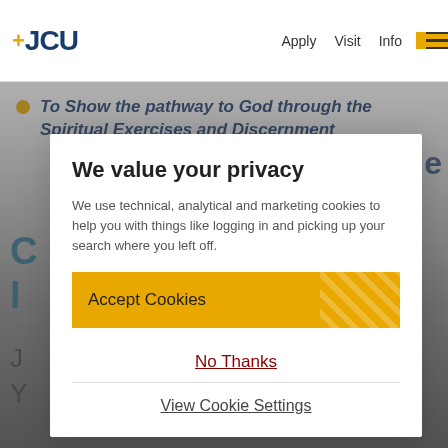+JCU  Apply  Visit  Info
To Show the pathway to God through the Spiritual Exercises and Discernment
We value your privacy
We use technical, analytical and marketing cookies to help you with things like logging in and picking up your search where you left off.
Accept Cookies
No Thanks
View Cookie Settings